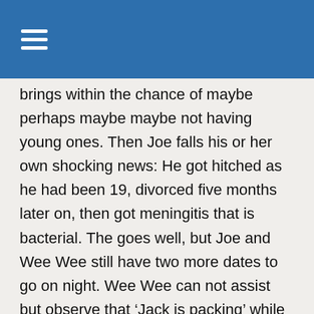brings within the chance of maybe perhaps maybe maybe not having young ones. Then Joe falls his or her own shocking news: He got hitched as he had been 19, divorced five months later on, then got meningitis that is bacterial. The goes well, but Joe and Wee Wee still have two more dates to go on night. Wee Wee can not assist but observe that ‘Jack is packing’ while they make art due to their systems the following day, Joe fulfills Jasmine, a gorgeous 20-something from Israel. He claims that Jasmine’s beauty absolutely takes their brain off Wee Wee, specially while they get boogie boarding – a task he calls ‘very intimate. She immediately notices he’s pale and never totally nude: he is putting on Converse athletic shoes. Wee Wee is switched off. The set has a romantic date body art that is making. They pour paint over each other and Wee Wee